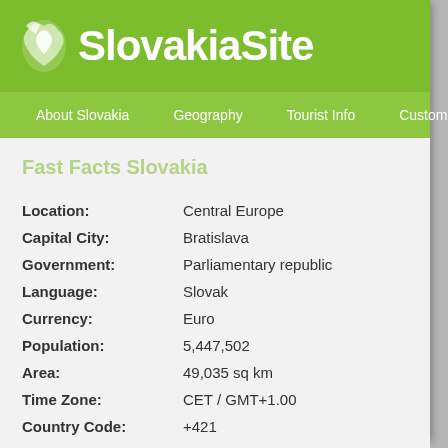SlovakiaSite
About Slovakia | Geography | Tourist Info | Customs & Traditions
Fast Facts Slovakia
| Field | Value |
| --- | --- |
| Location: | Central Europe |
| Capital City: | Bratislava |
| Government: | Parliamentary republic |
| Language: | Slovak |
| Currency: | Euro |
| Population: | 5,447,502 |
| Area: | 49,035 sq km |
| Time Zone: | CET / GMT+1.00 |
| Country Code: | +421 |